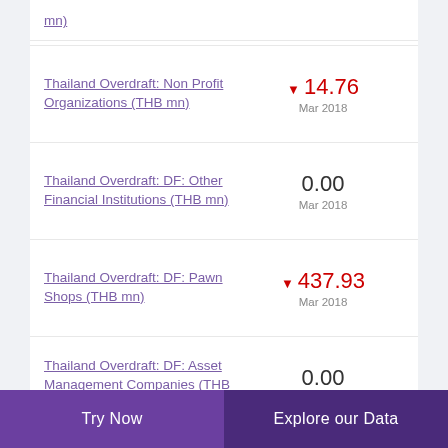mn)
Thailand Overdraft: Non Profit Organizations (THB mn)
Thailand Overdraft: DF: Other Financial Institutions (THB mn)
Thailand Overdraft: DF: Pawn Shops (THB mn)
Thailand Overdraft: DF: Asset Management Companies (THB mn)
Try Now | Explore our Data